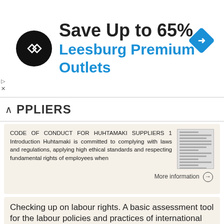[Figure (infographic): Advertisement banner: black circle logo with angular arrows, 'Save Up to 65%' headline, 'Leesburg Premium Outlets' in blue, blue diamond navigation icon on right]
PPLIERS
CODE OF CONDUCT FOR HUHTAMAKI SUPPLIERS 1 Introduction Huhtamaki is committed to complying with laws and regulations, applying high ethical standards and respecting fundamental rights of employees when
More information →
Checking up on labour rights. A basic assessment tool for the labour policies and practices of international companies.
Checking up on labour rights A basic assessment tool for the labour policies and practices of international companies Written